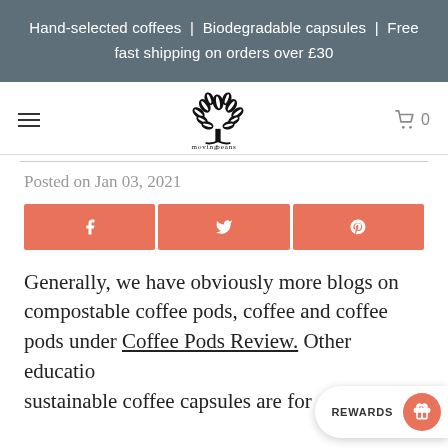Hand-selected coffees | Biodegradable capsules | Free fast shipping on orders over £30
[Figure (logo): Moving Beans logo: a tree made of coffee beans with text 'moving beans' below]
Posted on Jan 03, 2021
[Figure (infographic): Three salmon/coral colored social share buttons: Facebook (f), Twitter (bird), Pinterest (p)]
Generally, we have obviously more blogs on compostable coffee pods, coffee and coffee pods under Coffee Pods Review. Other education... sustainable coffee capsules are for